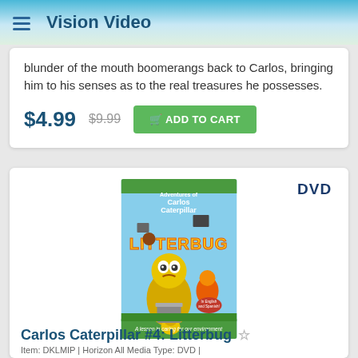Vision Video
blunder of the mouth boomerangs back to Carlos, bringing him to his senses as to the real treasures he possesses.
$4.99  $9.99  ADD TO CART
[Figure (photo): DVD cover for Carlos Caterpillar #4: Litterbug - animated caterpillar characters with title 'LITTERBUG' and subtitle 'A lesson in caring for our environment']
Carlos Caterpillar #4: Litterbug
Item: DKLMIP | Horizon All Media Type: DVD | ...